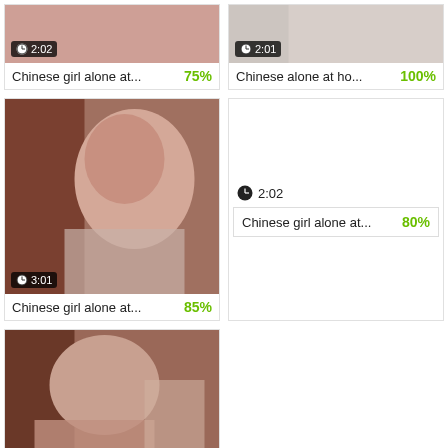[Figure (screenshot): Video thumbnail top-left: Chinese girl alone at... 75%, duration 2:02]
[Figure (screenshot): Video thumbnail top-right: Chinese alone at ho... 100%, duration 2:01]
[Figure (screenshot): Video thumbnail mid-left: Chinese girl alone at... 85%, duration 3:01]
[Figure (screenshot): Video thumbnail mid-right no image: Chinese girl alone at... 80%, duration 2:02]
[Figure (screenshot): Video thumbnail bottom-left: Chinese girl alone at..., duration visible, no percentage shown]